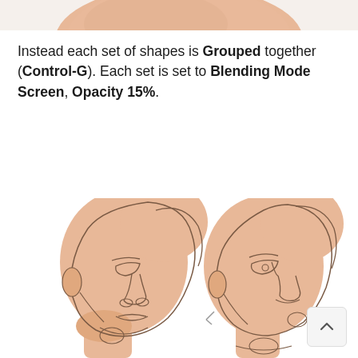[Figure (illustration): Partial view of a skin-toned illustrated face/head at the top of the page, cropped]
Instead each set of shapes is Grouped together (Control-G). Each set is set to Blending Mode Screen, Opacity 15%.
[Figure (illustration): Two side-by-side illustrated faces/heads shown in profile with line art overlays on skin-toned base shapes, demonstrating grouping and blending mode effects]